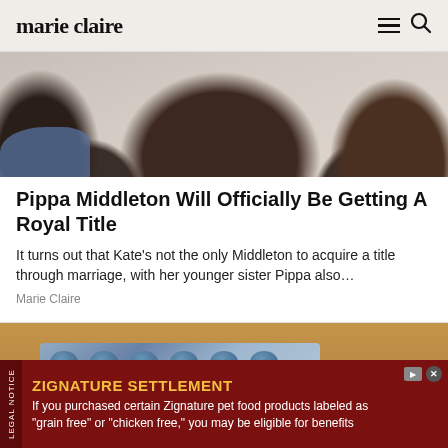marie claire
[Figure (photo): Two women with long dark hair, one wearing blue floral print, seen from behind/side]
Pippa Middleton Will Officially Be Getting A Royal Title
It turns out that Kate's not the only Middleton to acquire a title through marriage, with her younger sister Pippa also…
Marie Claire
[Figure (photo): Close-up of blue pills in a blister pack on a wooden surface]
ZIGNATURE SETTLEMENT
If you purchased certain Zignature pet food products labeled as "grain free" or "chicken free," you may be eligible for benefits